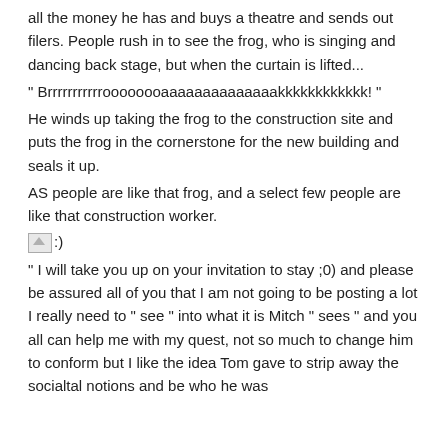all the money he has and buys a theatre and sends out filers. People rush in to see the frog, who is singing and dancing back stage, but when the curtain is lifted...
" Brrrrrrrrrrroooooooaaaaaaaaaaaaaakkkkkkkkkkkk! "
He winds up taking the frog to the construction site and puts the frog in the cornerstone for the new building and seals it up.
AS people are like that frog, and a select few people are like that construction worker.
[Figure (illustration): Small broken image icon followed by a smiley emoticon :)]
" I will take you up on your invitation to stay ;0) and please be assured all of you that I am not going to be posting a lot I really need to " see " into what it is Mitch " sees " and you all can help me with my quest, not so much to change him to conform but I like the idea Tom gave to strip away the socialtal notions and be who he was